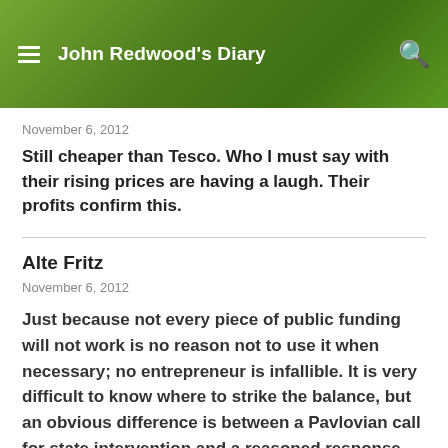John Redwood's Diary
November 6, 2012
Still cheaper than Tesco. Who I must say with their rising prices are having a laugh. Their profits confirm this.
Alte Fritz
November 6, 2012
Just because not every piece of public funding will not work is no reason not to use it when necessary; no entrepreneur is infallible. It is very difficult to know where to strike the balance, but an obvious difference is between a Pavlovian call for state intervention and a reasoned response.
Experience shows that if the state tries to do less, it does it